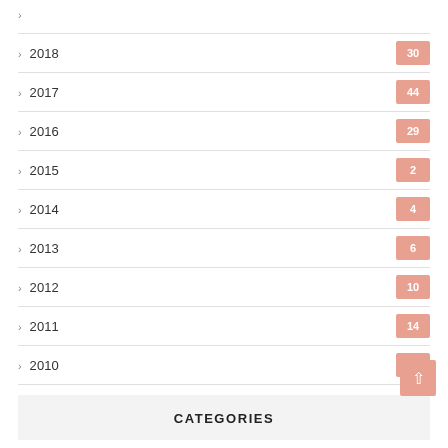› 2018  30
› 2017  44
› 2016  29
› 2015  2
› 2014  4
› 2013  6
› 2012  10
› 2011  14
› 2010  7
CATEGORIES
ARCHITECTURE
ART
ART&ARCHITECTURE
BLOGGING